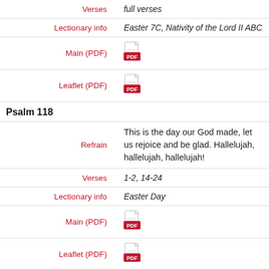| Verses | full verses |
| Lectionary info | Easter 7C, Nativity of the Lord II ABC |
| Main (PDF) | [pdf icon] |
| Leaflet (PDF) | [pdf icon] |
Psalm 118
| Refrain | This is the day our God made, let us rejoice and be glad. Hallelujah, hallelujah, hallelujah! |
| Verses | 1-2, 14-24 |
| Lectionary info | Easter Day |
| Main (PDF) | [pdf icon] |
| Leaflet (PDF) | [pdf icon] |